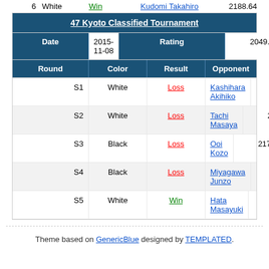| Round | Color | Result | Opponent | Rating |
| --- | --- | --- | --- | --- |
| 6 | White | Win | Kudomi Takahiro | 2188.64 |
| Date | 2015-11-08 | Rating | 2049.43 |
| --- | --- | --- | --- |
| S1 | White | Loss | Kashihara Akihiko | 2302.88 |
| S2 | White | Loss | Tachi Masaya | 2437.14 |
| S3 | Black | Loss | Ooi Kozo | 2179.55 |
| S4 | Black | Loss | Miyagawa Junzo | 2204.15 |
| S5 | White | Win | Hata Masayuki | 2150.78 |
Theme based on GenericBlue designed by TEMPLATED.